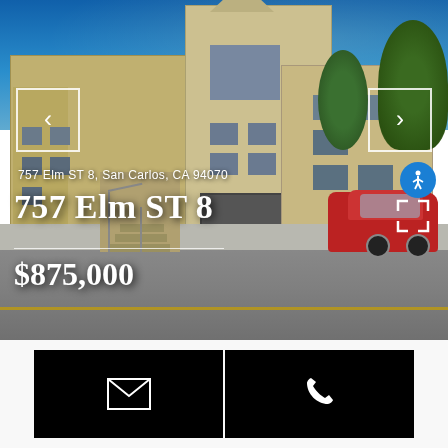[Figure (photo): Street view photo of apartment building at 757 Elm ST 8, San Carlos, CA 94070. Multi-story beige/tan apartment complex with garage, staircase visible, red SUV parked on right, blue sky background, green trees.]
757 Elm ST 8, San Carlos, CA 94070
757 Elm ST 8
$875,000
[Figure (other): Black button panel with email icon (envelope) on left and phone icon on right, for contact options]